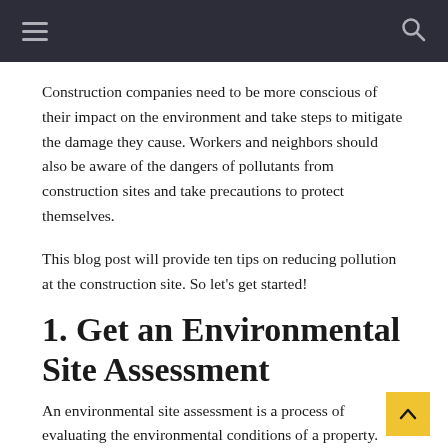Navigation bar with hamburger menu and search icon
Construction companies need to be more conscious of their impact on the environment and take steps to mitigate the damage they cause. Workers and neighbors should also be aware of the dangers of pollutants from construction sites and take precautions to protect themselves.
This blog post will provide ten tips on reducing pollution at the construction site. So let's get started!
1. Get an Environmental Site Assessment
An environmental site assessment is a process of evaluating the environmental conditions of a property. This includes identifying and assessing potential environmental hazards, such as pollution from the construction site. The assessment results can be used to